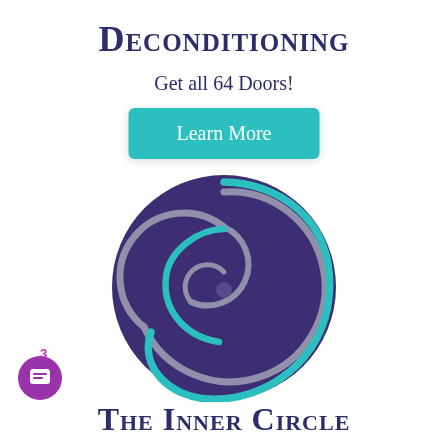Deconditioning
Get all 64 Doors!
Learn More
[Figure (logo): Dark purple circle containing a spiral/nautilus shell design with grey and teal/cyan colored spiral lines on a deep purple background]
The Inner Circle